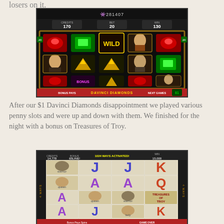losers on it.
[Figure (photo): Photo of a Da Vinci Diamonds slot machine screen showing WILD symbol, bonus symbols, and game stats: Credits 170, Bet 20, Win 130. Progressive jackpot number 281407 visible at top.]
After our $1 Davinci Diamonds disappointment we played various penny slots and were up and down with them. We finished for the night with a bonus on Treasures of Troy.
[Figure (photo): Photo of a Treasures of Troy slot machine screen showing J J J K on top row, A A Q on middle row, with 1024 WAYS ACTIVATED bonus, Win: 15,000 display.]